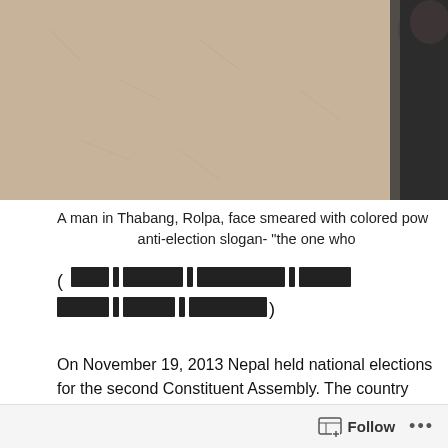[Figure (photo): A man in Thabang, Rolpa, face smeared with colored powder, painting an anti-election slogan on a wall. A hand wearing a yellow glove holds a tool against a sandy/tan textured wall. A person in dark clothing is visible at the right edge.]
A man in Thabang, Rolpa, face smeared with colored pow anti-election slogan- “the one who
(नेपाली ते मात्र परिचित ठाउँ हारेका ठाउँ जान्छन्)
On November 19, 2013 Nepal held national elections for the second Constituent Assembly. The country witnessed a record turnout. I was among the 9.4
Follow ...